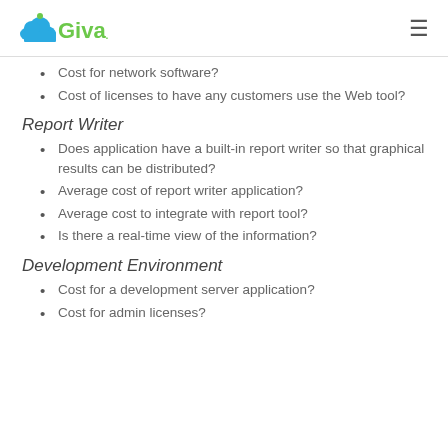Giva
Cost for network software?
Cost of licenses to have any customers use the Web tool?
Report Writer
Does application have a built-in report writer so that graphical results can be distributed?
Average cost of report writer application?
Average cost to integrate with report tool?
Is there a real-time view of the information?
Development Environment
Cost for a development server application?
Cost for admin licenses?